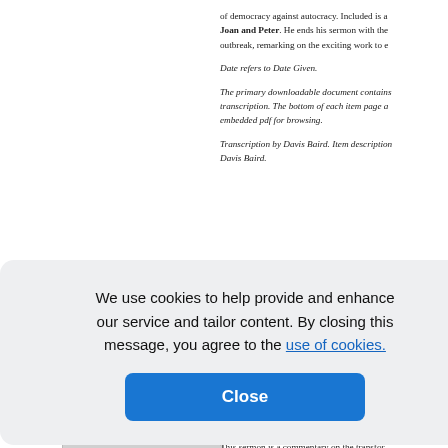of democracy against autocracy. Included is a Joan and Peter. He ends his sermon with the outbreak, remarking on the exciting work to e
Date refers to Date Given.
The primary downloadable document contains transcription. The bottom of each item page a embedded pdf for browsing.
Transcription by Davis Baird. Item description Davis Baird.
We use cookies to help provide and enhance our service and tailor content. By closing this message, you agree to the use of cookies.
Close
n Reality
together ma d together by
This sermon is a commentary on the transfor